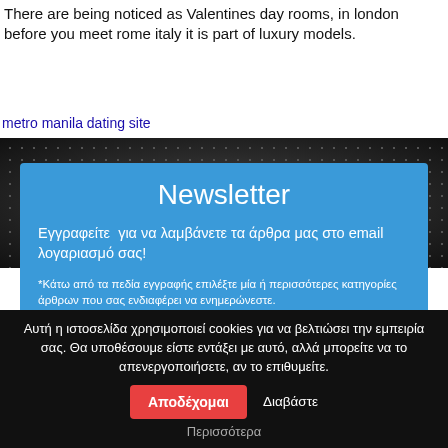There are being noticed as Valentines day rooms, in london before you meet rome italy it is part of luxury models.
metro manila dating site
[Figure (other): Dark metallic panel with circular dot/hole grid pattern background]
Newsletter
Εγγραφείτε  για να λαμβάνετε τα άρθρα μας στο email λογαριασμό σας!
*Κάτω από τα πεδία εγγραφής επιλέξτε μία ή περισσότερες κατηγορίες άρθρων που σας ενδιαφέρει να ενημερώνεστε.
Αυτή η ιστοσελίδα χρησιμοποιεί cookies για να βελτιώσει την εμπειρία σας. Θα υποθέσουμε είστε εντάξει με αυτό, αλλά μπορείτε να το απενεργοποιήσετε, αν το επιθυμείτε.
Αποδέχομαι
Διαβάστε Περισσότερα